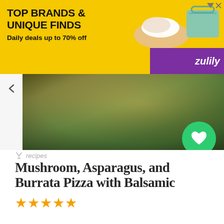[Figure (screenshot): Zulily advertisement banner with yellow background showing 'TOP BRANDS & UNIQUE FINDS' and 'Daily deals up to 70% off' with shoe and bag images and purple Zulily logo corner]
[Figure (photo): Partial food photo showing what appears to be pizza, blurred background with green and brown tones]
recipes
Mushroom, Asparagus, and Burrata Pizza with Balsamic
[Figure (other): Five orange star rating icons]
…mushroom, asparagus, and burrata pizza with balsamic recipe offer a simple … inch pizza with the instructions in this recipe and total time needed to cook this dish comes around…
Similar recipes like Mushroom, Asparagus, and Burrata
Cookies help us in providing our services. By using this service, you consent to their use. More info  I Understand